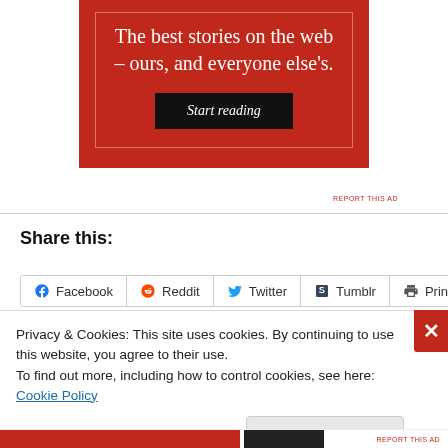[Figure (other): Red advertisement banner with white serif text reading 'The best stories on the web – ours, and everyone else's.' with a black 'Start reading' button]
REPORT THIS AD
Share this:
Facebook | Reddit | Twitter | Tumblr | Print (share buttons)
Privacy & Cookies: This site uses cookies. By continuing to use this website, you agree to their use.
To find out more, including how to control cookies, see here: Cookie Policy
Close and accept